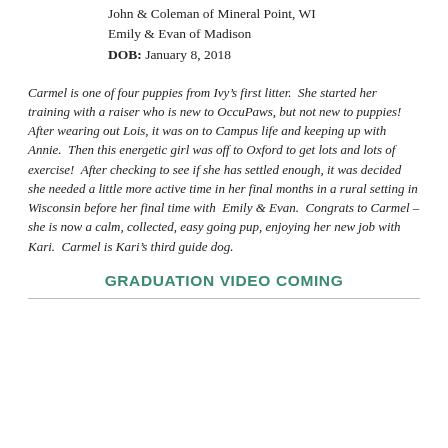John & Coleman of Mineral Point, WI
Emily & Evan of Madison
DOB: January 8, 2018
Carmel is one of four puppies from Ivy’s first litter.  She started her training with a raiser who is new to OccuPaws, but not new to puppies!  After wearing out Lois, it was on to Campus life and keeping up with Annie.  Then this energetic girl was off to Oxford to get lots and lots of exercise!  After checking to see if she has settled enough, it was decided she needed a little more active time in her final months in a rural setting in Wisconsin before her final time with  Emily & Evan.  Congrats to Carmel – she is now a calm, collected, easy going pup, enjoying her new job with Kari.  Carmel is Kari’s third guide dog.
GRADUATION VIDEO COMING